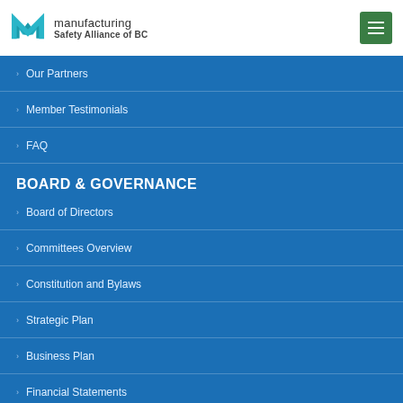manufacturing Safety Alliance of BC
Our Partners
Member Testimonials
FAQ
BOARD & GOVERNANCE
Board of Directors
Committees Overview
Constitution and Bylaws
Strategic Plan
Business Plan
Financial Statements